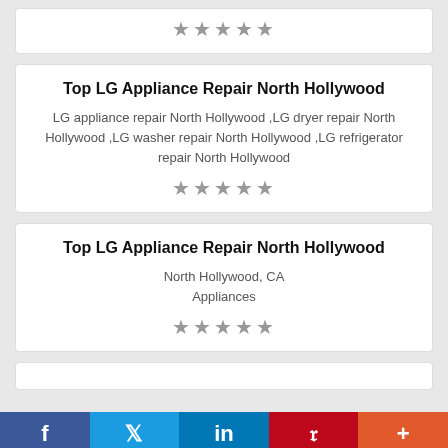★★★★★
Top LG Appliance Repair North Hollywood
LG appliance repair North Hollywood ,LG dryer repair North Hollywood ,LG washer repair North Hollywood ,LG refrigerator repair North Hollywood
★★★★★
Top LG Appliance Repair North Hollywood
North Hollywood, CA
Appliances
★★★★★
f  Twitter  in  Pinterest  +